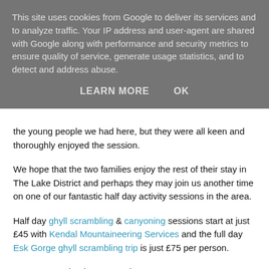This site uses cookies from Google to deliver its services and to analyze traffic. Your IP address and user-agent are shared with Google along with performance and security metrics to ensure quality of service, generate usage statistics, and to detect and address abuse.
LEARN MORE   OK
the young people we had here, but they were all keen and thoroughly enjoyed the session.
We hope that the two families enjoy the rest of their stay in The Lake District and perhaps they may join us another time on one of our fantastic half day activity sessions in the area.
Half day ghyll scrambling & canyoning sessions start at just £45 with Kendal Mountaineering Services and the full day Esk Gorge ghyll scrambling trip is just £75 per person.
Contact us to book your session soon.